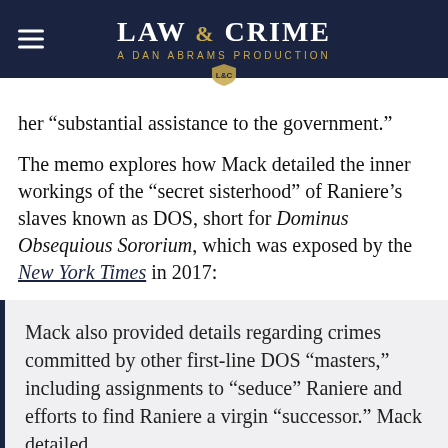LAW & CRIME — A DAN ABRAMS PRODUCTION
her “substantial assistance to the government.”
The memo explores how Mack detailed the inner workings of the “secret sisterhood” of Raniere’s slaves known as DOS, short for Dominus Obsequious Sororium, which was exposed by the New York Times in 2017:
Mack also provided details regarding crimes committed by other first-line DOS “masters,” including assignments to “seduce” Raniere and efforts to find Raniere a virgin “successor.” Mack detailed